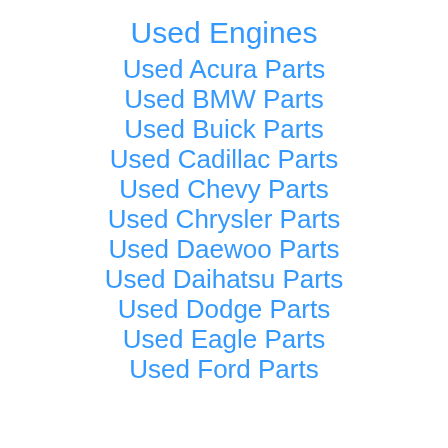Used Engines
Used Acura Parts
Used BMW Parts
Used Buick Parts
Used Cadillac Parts
Used Chevy Parts
Used Chrysler Parts
Used Daewoo Parts
Used Daihatsu Parts
Used Dodge Parts
Used Eagle Parts
Used Ford Parts